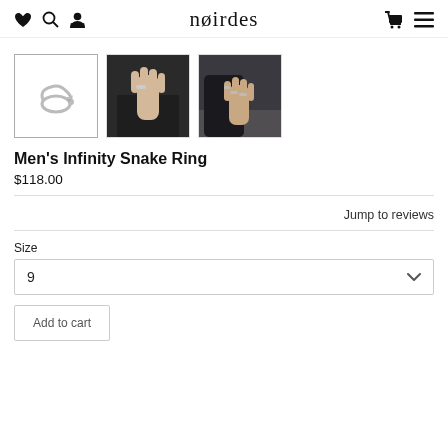noirdes — navigation header with heart, search, user, cart, and menu icons
[Figure (photo): Three product thumbnail photos: first is a silver snake ring on white background, second is a hand wearing a ring against dark trousers, third is a hand with multiple rings resting on a surface.]
Men's Infinity Snake Ring
$118.00
Jump to reviews
Size
9
Add to cart